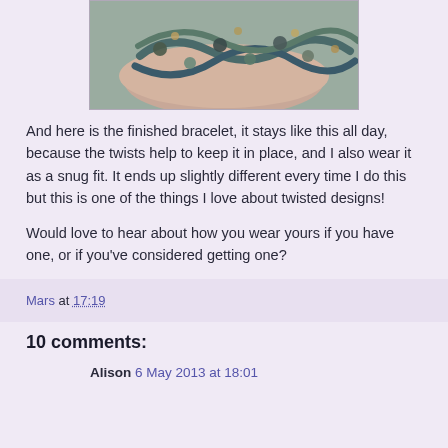[Figure (photo): A close-up photo of a twisted beaded bracelet worn on a wrist, showing teal/blue and dark beads with a decorative twisted design.]
And here is the finished bracelet, it stays like this all day, because the twists help to keep it in place, and I also wear it as a snug fit. It ends up slightly different every time I do this but this is one of the things I love about twisted designs!
Would love to hear about how you wear yours if you have one, or if you've considered getting one?
Mars at 17:19
10 comments:
Alison 6 May 2013 at 18:01